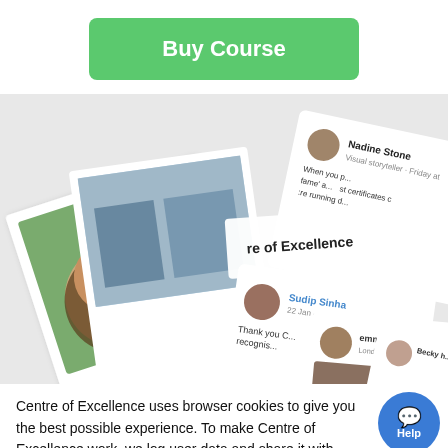Buy Course
[Figure (photo): Collage of social media posts and testimonials from students, showing profile photos, names like Sudip Sinha, Nadine Stone, emma the alche, Becky, with partial text snippets about certificates and Centre of Excellence.]
Centre of Excellence uses browser cookies to give you the best possible experience. To make Centre of Excellence work, we log user data and share it with processors. You can view our cookie policy here.
Close